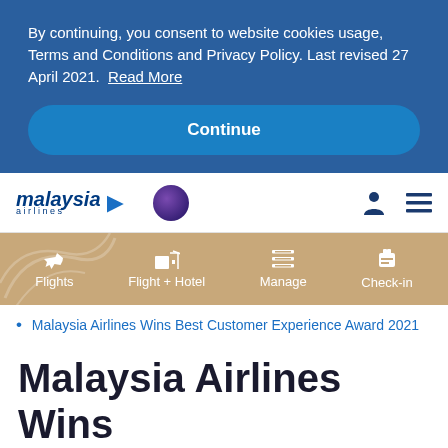By continuing, you consent to website cookies usage, Terms and Conditions and Privacy Policy. Last revised 27 April 2021. Read More
Continue
[Figure (logo): Malaysia Airlines logo with stylized text and arrow, oneworld alliance circle logo, user icon and hamburger menu icon]
[Figure (infographic): Navigation menu bar with tan/gold background showing Flights, Flight + Hotel, Manage, and Check-in options with icons]
Malaysia Airlines Wins Best Customer Experience Award 2021
Malaysia Airlines Wins Best Customer